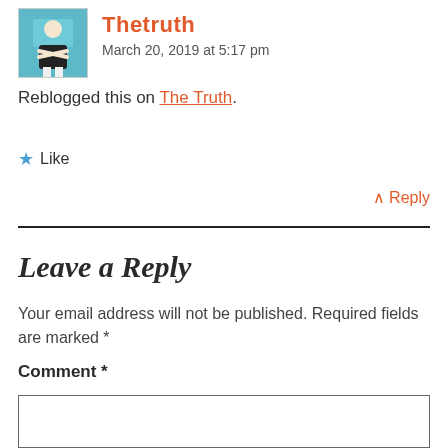[Figure (photo): Avatar photo of user Thetruth — person in black shirt with arms crossed, teal/blue background]
Thetruth
March 20, 2019 at 5:17 pm
Reblogged this on The Truth.
★ Like
↑ Reply
Leave a Reply
Your email address will not be published. Required fields are marked *
Comment *